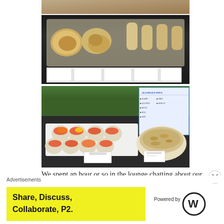[Figure (photo): Partial cropped photo of baked goods or pastries on a tray from above]
[Figure (photo): Photo of packaged baked goods/pastries arranged on a display tray with label cards at the bottom]
[Figure (photo): Photo of individual fruit dessert cups with strawberries arranged on a white tray, and a bowl of granola or cereal, with a menu/allergen card visible]
We spent an hour or so in the lounge chatting about our
Advertisements
[Figure (infographic): Yellow advertisement banner: Share, Discuss, Collaborate, P2. Powered by WordPress logo]